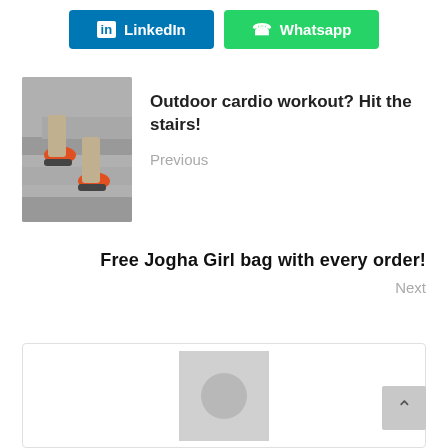[Figure (other): LinkedIn and Whatsapp social share buttons]
[Figure (photo): Thumbnail of person walking up outdoor stairs wearing orange sneakers]
Outdoor cardio workout? Hit the stairs!
Previous
Free Jogha Girl bag with every order!
Next
[Figure (other): Author avatar placeholder box with gray circle icon and back-to-top button]